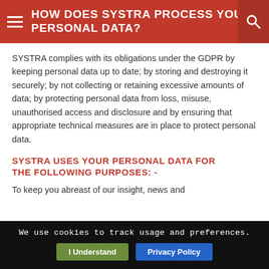HOW DOES SYSTRA PROCESS YOUR PERSONAL DATA?
SYSTRA complies with its obligations under the GDPR by keeping personal data up to date; by storing and destroying it securely; by not collecting or retaining excessive amounts of data; by protecting personal data from loss, misuse, unauthorised access and disclosure and by ensuring that appropriate technical measures are in place to protect personal data.
SYSTRA USES YOUR PERSONAL DATA FOR THE FOLLOWING PURPOSES: -
To keep you abreast of our insight, news and
We use cookies to track usage and preferences.
I Understand   Privacy Policy